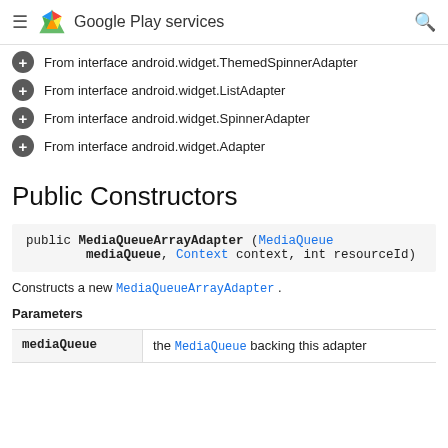Google Play services
From interface android.widget.ThemedSpinnerAdapter
From interface android.widget.ListAdapter
From interface android.widget.SpinnerAdapter
From interface android.widget.Adapter
Public Constructors
public MediaQueueArrayAdapter (MediaQueue mediaQueue, Context context, int resourceId)
Constructs a new MediaQueueArrayAdapter .
Parameters
|  |  |
| --- | --- |
| mediaQueue | the MediaQueue backing this adapter |